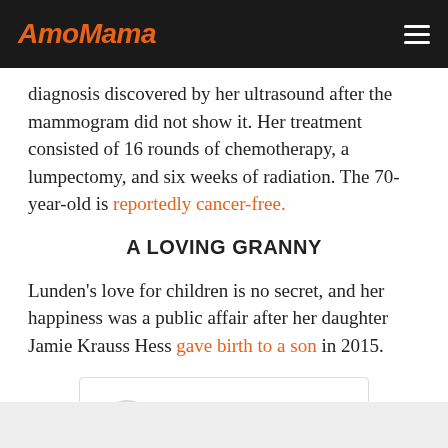AmoMama
diagnosis discovered by her ultrasound after the mammogram did not show it. Her treatment consisted of 16 rounds of chemotherapy, a lumpectomy, and six weeks of radiation. The 70-year-old is reportedly cancer-free.
A LOVING GRANNY
Lunden's love for children is no secret, and her happiness was a public affair after her daughter Jamie Krauss Hess gave birth to a son in 2015.
[Figure (screenshot): Embedded social media post placeholder with avatar circle and two gray placeholder lines]